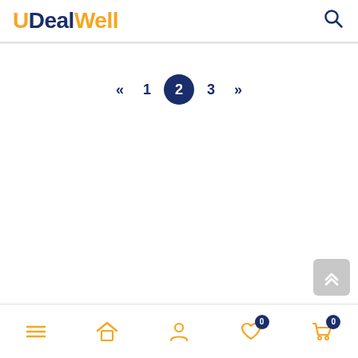UDealWell
[Figure (screenshot): Pagination controls showing: « 1 [2] 3 »  with page 2 highlighted in a dark blue circle]
[Figure (screenshot): Scroll-to-top button (double chevron up) in grey, bottom-right corner]
Bottom navigation bar with hamburger menu, home, user, wishlist (badge 0), cart (badge 0)